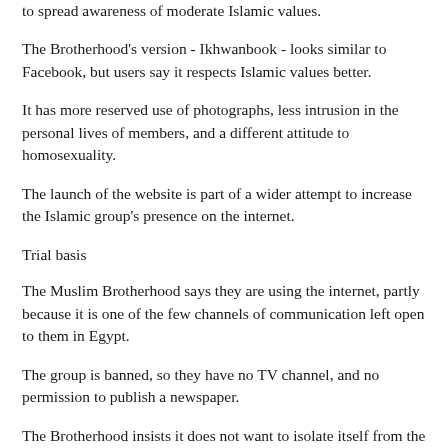to spread awareness of moderate Islamic values.
The Brotherhood's version - Ikhwanbook - looks similar to Facebook, but users say it respects Islamic values better.
It has more reserved use of photographs, less intrusion in the personal lives of members, and a different attitude to homosexuality.
The launch of the website is part of a wider attempt to increase the Islamic group's presence on the internet.
Trial basis
The Muslim Brotherhood says they are using the internet, partly because it is one of the few channels of communication left open to them in Egypt.
The group is banned, so they have no TV channel, and no permission to publish a newspaper.
The Brotherhood insists it does not want to isolate itself from the world, nor to compete with Facebook.